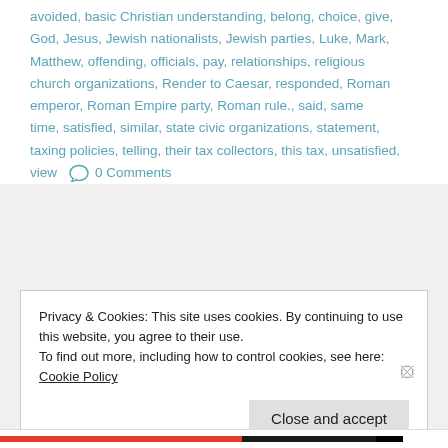avoided, basic Christian understanding, belong, choice, give, God, Jesus, Jewish nationalists, Jewish parties, Luke, Mark, Matthew, offending, officials, pay, relationships, religious church organizations, Render to Caesar, responded, Roman emperor, Roman Empire party, Roman rule., said, same time, satisfied, similar, state civic organizations, statement, taxing policies, telling, their tax collectors, this tax, unsatisfied, view    💬 0 Comments
Privacy & Cookies: This site uses cookies. By continuing to use this website, you agree to their use.
To find out more, including how to control cookies, see here: Cookie Policy